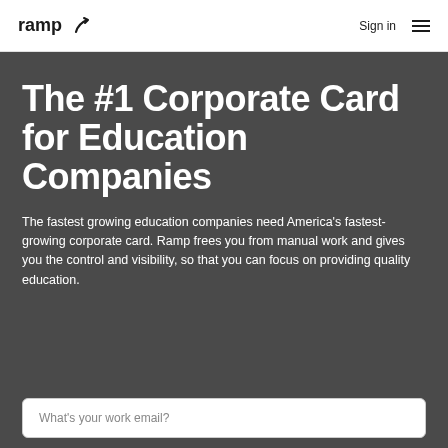ramp  Sign in
The #1 Corporate Card for Education Companies
The fastest growing education companies need America's fastest-growing corporate card. Ramp frees you from manual work and gives you the control and visibility, so that you can focus on providing quality education.
What's your work email?